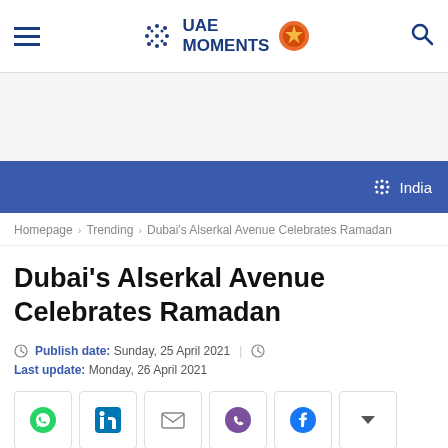UAE Moments — navigation header with hamburger menu, logo, and search icon
[Figure (infographic): Blue promotional banner with UAE Moments snowflake logo and text 'India']
Homepage > Trending > Dubai's Alserkal Avenue Celebrates Ramadan
Dubai's Alserkal Avenue Celebrates Ramadan
Publish date: Sunday, 25 April 2021 | Last update: Monday, 26 April 2021
[Figure (infographic): Social share buttons: WhatsApp, LinkedIn, Email, Viber, Facebook, More (dropdown)]
[Figure (photo): Partial view of a photo at the bottom of the page]